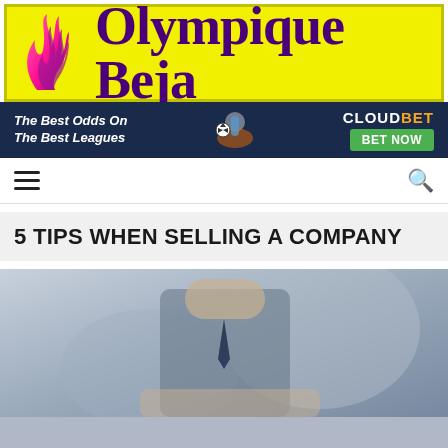[Figure (logo): Olympique Beja website header logo with flame icon on yellow background and purple text]
[Figure (infographic): CloudBet advertisement banner: 'The Best Odds On The Best Leagues' with soccer player image, CLOUDBET logo and BET NOW green button]
5 TIPS WHEN SELLING A COMPANY
[Figure (photo): Business photo showing a person in a suit, blurred background, business handshake or signing context]